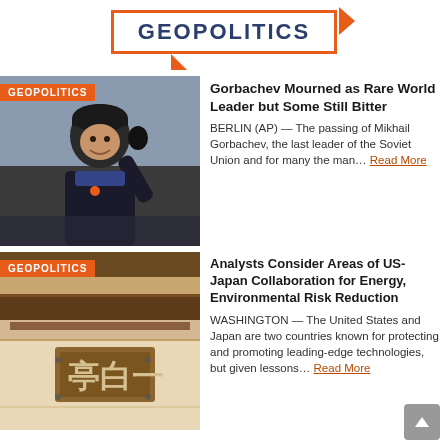GEOPOLITICS
[Figure (photo): Photo of a smiling man in a dark fur hat and coat, waving, with orange accessories visible. Tagged GEOPOLITICS.]
Gorbachev Mourned as Rare World Leader but Some Still Bitter
BERLIN (AP) — The passing of Mikhail Gorbachev, the last leader of the Soviet Union and for many the man… Read More
[Figure (photo): Photo of a Japanese building exterior with a wooden sign bearing Chinese/Japanese characters. Taken from below looking up at the eave and signage. Tagged GEOPOLITICS.]
Analysts Consider Areas of US-Japan Collaboration for Energy, Environmental Risk Reduction
WASHINGTON — The United States and Japan are two countries known for protecting and promoting leading-edge technologies, but given lessons… Read More